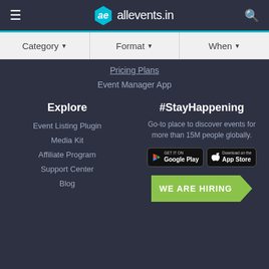allevents.in
Category  Format  When
Pricing Plans
Event Manager App
Explore
Event Listing Plugin
Media Kit
Affiliate Program
Support Center
Blog
#StayHappening
Go-to place to discover events for more than 15M people globally.
[Figure (screenshot): Google Play and App Store download buttons]
WE ARE HIRING